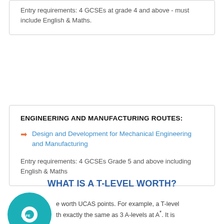Entry requirements: 4 GCSEs at grade 4 and above - must include English & Maths.
ENGINEERING AND MANUFACTURING ROUTES:
Design and Development for Mechanical Engineering and Manufacturing
Entry requirements: 4 GCSEs Grade 5 and above including English & Maths
WHAT IS A T-LEVEL WORTH?
[Figure (logo): Safe Spaces UK Safe No More circular teal logo]
e worth UCAS points. For example, a T-level th exactly the same as 3 A-levels at A*. It is